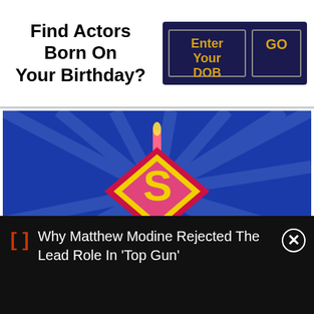Find Actors Born On Your Birthday?
Enter Your DOB
GO
[Figure (photo): Movie poster featuring a Superman-style logo with the letter S in yellow on a pink/red diamond shape against a blue radial background, with a birthday candle on top. Award laurels and the year 2019 visible at the bottom of the poster image.]
10
2
As: Producer, Director, Writer
Why Matthew Modine Rejected The Lead Role In 'Top Gun'